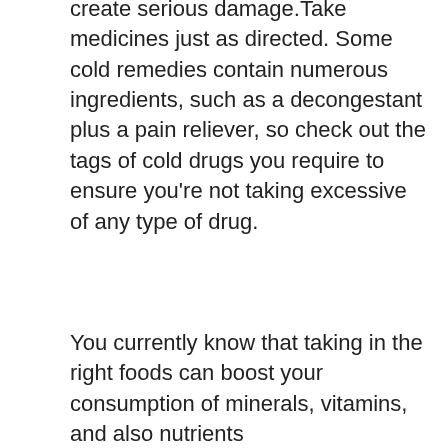create serious damage.Take medicines just as directed. Some cold remedies contain numerous ingredients, such as a decongestant plus a pain reliever, so check out the tags of cold drugs you require to ensure you're not taking excessive of any type of drug.
You currently know that taking in the right foods can boost your consumption of minerals, vitamins, and also nutrients